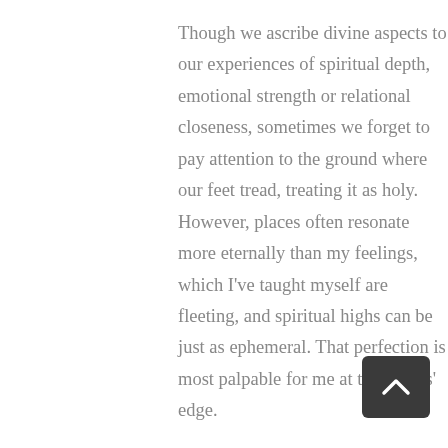Though we ascribe divine aspects to our experiences of spiritual depth, emotional strength or relational closeness, sometimes we forget to pay attention to the ground where our feet tread, treating it as holy. However, places often resonate more eternally than my feelings, which I've taught myself are fleeting, and spiritual highs can be just as ephemeral. That perfection is most palpable for me at the waters' edge.

By the shores of the great lakes, whose familiarity is comforting, imbued with qualities I seek in busy daily life: